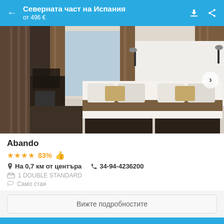Северната част на Испания от 496 €
[Figure (photo): Hotel room interior with two single beds pushed together, brown curtains, modern headboard lighting, and a desk area on the left]
Abando
★★★★ 83% 👍
На 0,7 км от центъра  📞 34-94-4236200
1 DOUBLE STANDARD
Само стая
Вижте подробностите
Опции за резервация ^